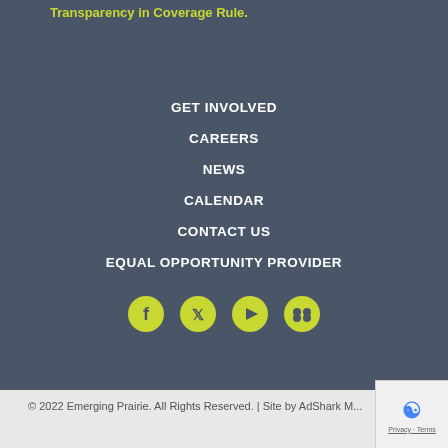Transparency in Coverage Rule.
GET INVOLVED
CAREERS
NEWS
CALENDAR
CONTACT US
EQUAL OPPORTUNITY PROVIDER
[Figure (other): Social media icons: Facebook, Twitter, YouTube, Flickr — yellow/green circle icons on dark background]
© 2022 Emerging Prairie. All Rights Reserved. | Site by AdShark M...